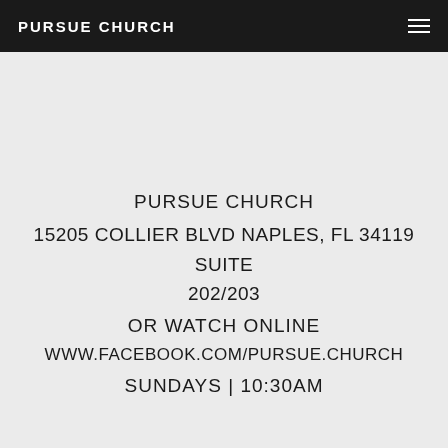PURSUE CHURCH
PURSUE CHURCH
15205 COLLIER BLVD NAPLES, FL 34119 SUITE 202/203
OR WATCH ONLINE
WWW.FACEBOOK.COM/PURSUE.CHURCH
SUNDAYS | 10:30AM